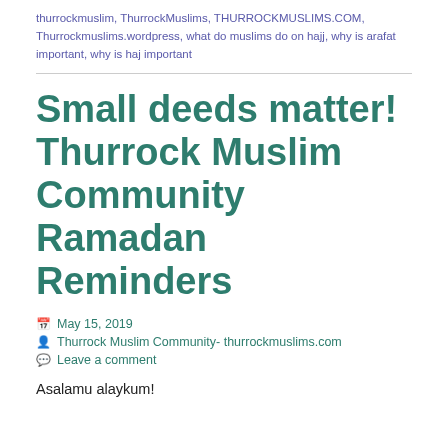thurrockmuslim, ThurrockMuslims, THURROCKMUSLIMS.COM, Thurrockmuslims.wordpress, what do muslims do on hajj, why is arafat important, why is haj important
Small deeds matter! Thurrock Muslim Community Ramadan Reminders
May 15, 2019
Thurrock Muslim Community- thurrockmuslims.com
Leave a comment
Asalamu alaykum!